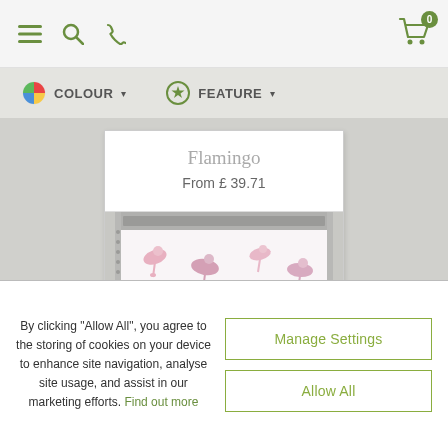[Figure (screenshot): Website navigation bar with hamburger menu, search, and phone icons on left; shopping cart with badge '0' on right]
[Figure (screenshot): Filter bar with colour wheel icon and COLOUR dropdown, and star icon and FEATURE dropdown]
Flamingo
From £ 39.71
[Figure (photo): Roller blind product image showing flamingo pattern on white background, partially rolled down in a white frame]
By clicking “Allow All”, you agree to the storing of cookies on your device to enhance site navigation, analyse site usage, and assist in our marketing efforts. Find out more